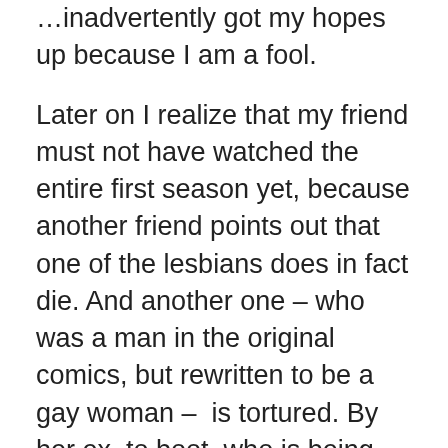…inadvertently got my hopes up because I am a fool.
Later on I realize that my friend must not have watched the entire first season yet, because another friend points out that one of the lesbians does in fact die. And another one – who was a man in the original comics, but rewritten to be a gay woman –  is tortured. By her ex, to boot, who is being forced to do so by Kilgrave, the show's main antagonist. Her girlfriend ends up killing her ex to save her.
And the main couple is portrayed as more corrupt than Kilgrave, despite the fact that he rapes multiple people and they just have infidelity issues.
Somehow all the straight pairings make it through the show alive.
My friend had been sharing a concern that was about to be…